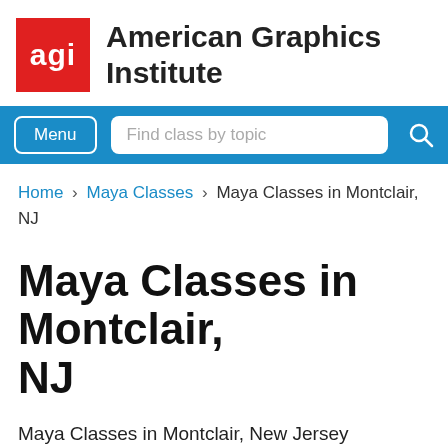[Figure (logo): American Graphics Institute logo: red square with white 'agi' text, next to bold text 'American Graphics Institute']
Menu | Find class by topic
Home › Maya Classes › Maya Classes in Montclair, NJ
Maya Classes in Montclair, NJ
Maya Classes in Montclair, New Jersey